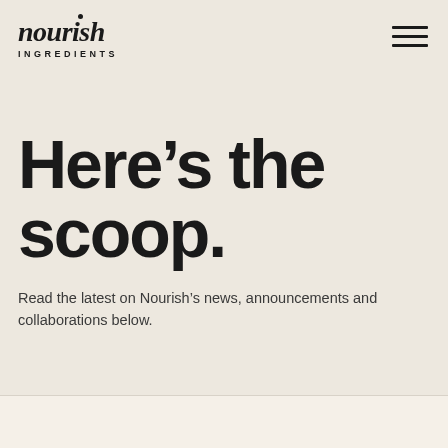[Figure (logo): Nourish Ingredients logo with stylized italic text 'nourish' and subtitle 'INGREDIENTS' in spaced capitals]
Here’s the scoop.
Read the latest on Nourish’s news, announcements and collaborations below.